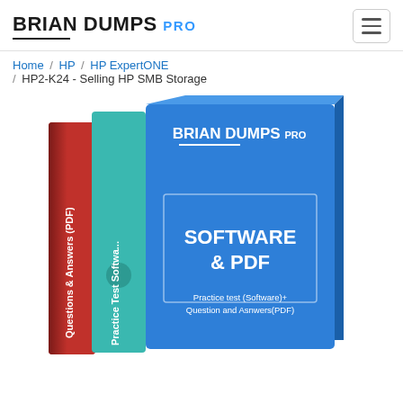BRIAN DUMPS PRO
Home / HP / HP ExpertONE / HP2-K24 - Selling HP SMB Storage
[Figure (photo): Product box set showing three exam prep books/software packages: a red book labeled 'Questions & Answers (PDF)', a teal/green book labeled 'Practice Test Software', and a large blue box labeled 'BRIAN DUMPS PRO - SOFTWARE & PDF - Practice test (Software)+ Question and Asnwers(PDF)']